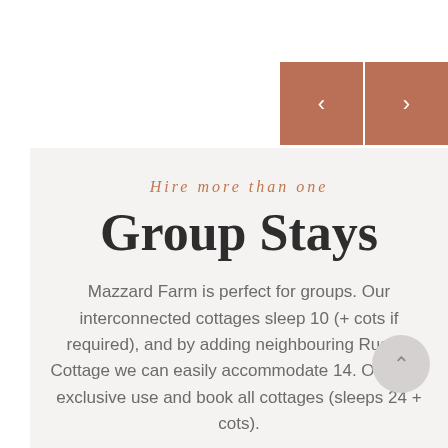[Figure (other): Navigation buttons with left and right chevron arrows on terracotta/brown background]
Hire more than one
Group Stays
Mazzard Farm is perfect for groups. Our interconnected cottages sleep 10 (+ cots if required), and by adding neighbouring Russet Cottage we can easily accommodate 14. Or do an exclusive use and book all cottages (sleeps 24 + cots).
We can (help) organise lots of activities, a personal chef, pampering; just ask!